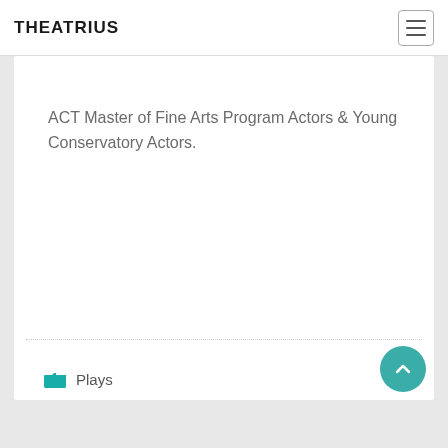THEATRIUS
ACT Master of Fine Arts Program Actors & Young Conservatory Actors.
Plays